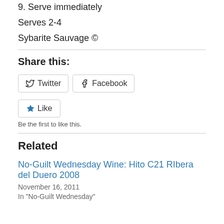9. Serve immediately
Serves 2-4
Sybarite Sauvage ©
Share this:
Twitter  Facebook
Like  Be the first to like this.
Related
No-Guilt Wednesday Wine: Hito C21 RIbera del Duero 2008
November 16, 2011
In "No-Guilt Wednesday"